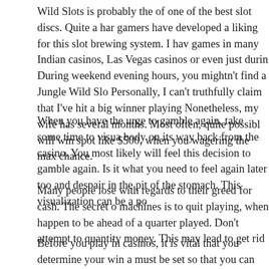Wild Slots is probably the of one of the best slot discs. Quite a har gamers have developed a liking for this slot brewing system. I hav games in many Indian casinos, Las Vegas casinos or even just durin During weekend evening hours, you mightn't find a Jungle Wild Slo Personally, I can't truthfully claim that I've hit a big winner playing Nonetheless, my wife has several months. Most often, quite possibl will win spot like $500, when you wagering the max chance.
When you have the urge to gamble again, take some time to visua body on its way back from the casino. You most likely will feel this decision to gamble again. Is it what you need to feel again later too and despair in the pit of the stomach. This visualization can be a po
Many people lose with regards to their greed for cash. The secret o machines is to quit playing, when happen to be ahead of a quarter played. Don't attempt to quantity money. This may lead to get rid
Before you play in casinos, it is vital that you determine your win a must be set so that you can will not loss more money from your b quantity of a player is willing to lose just in case he appears. When should immediately cash out and stop playing. The win limits, on